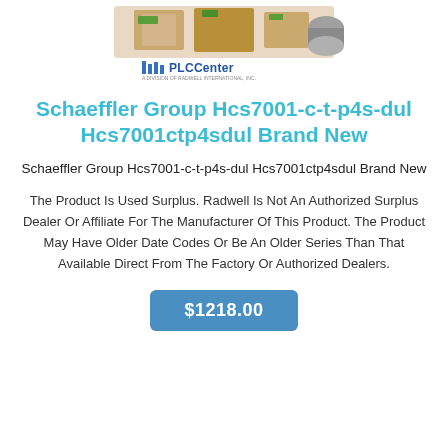[Figure (logo): PLC Center logo with industrial parts/boxes in background and 'PLCCenter - A Division of Radwell International, Inc.' text]
Schaeffler Group Hcs7001-c-t-p4s-dul Hcs7001ctp4sdul Brand New
Schaeffler Group Hcs7001-c-t-p4s-dul Hcs7001ctp4sdul Brand New
The Product Is Used Surplus. Radwell Is Not An Authorized Surplus Dealer Or Affiliate For The Manufacturer Of This Product. The Product May Have Older Date Codes Or Be An Older Series Than That Available Direct From The Factory Or Authorized Dealers.
$1218.00